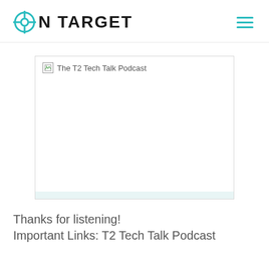ON TARGET
[Figure (photo): The T2 Tech Talk Podcast — broken image placeholder showing alt text]
Thanks for listening!
Important Links: T2 Tech Talk Podcast